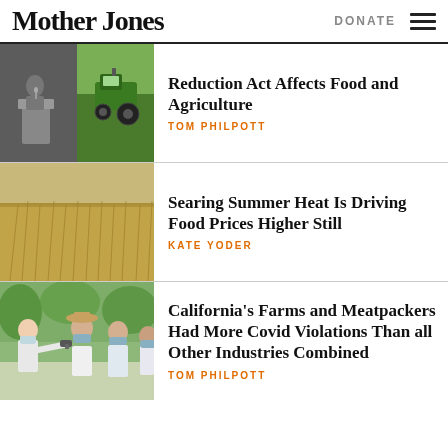Mother Jones  DONATE
[Figure (photo): Two photos side by side: a man at a podium (black and white), and a green tractor in a field (color)]
Reduction Act Affects Food and Agriculture
TOM PHILPOTT
[Figure (photo): A field of grain/wheat crops under summer sky]
Searing Summer Heat Is Driving Food Prices Higher Still
KATE YODER
[Figure (photo): Farm workers wearing masks outdoors, one person having their temperature checked]
California’s Farms and Meatpackers Had More Covid Violations Than all Other Industries Combined
TOM PHILPOTT